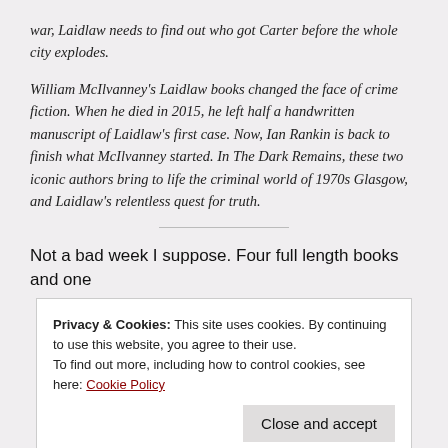war, Laidlaw needs to find out who got Carter before the whole city explodes.
William McIlvanney's Laidlaw books changed the face of crime fiction. When he died in 2015, he left half a handwritten manuscript of Laidlaw's first case. Now, Ian Rankin is back to finish what McIlvanney started. In The Dark Remains, these two iconic authors bring to life the criminal world of 1970s Glasgow, and Laidlaw's relentless quest for truth.
Not a bad week I suppose. Four full length books and one
Privacy & Cookies: This site uses cookies. By continuing to use this website, you agree to their use.
To find out more, including how to control cookies, see here: Cookie Policy
Close and accept